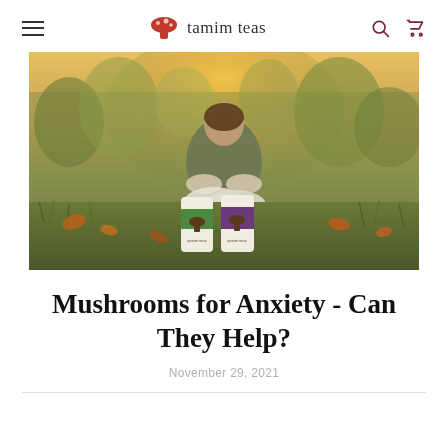tamim teas
[Figure (photo): A person sitting cross-legged outdoors on grass with autumn leaves, holding something in their hands. Two Tamim Teas product canisters (one with green label, one with purple label) sit on the grass in the foreground. Background shows trees with golden light.]
Mushrooms for Anxiety - Can They Help?
November 29, 2021